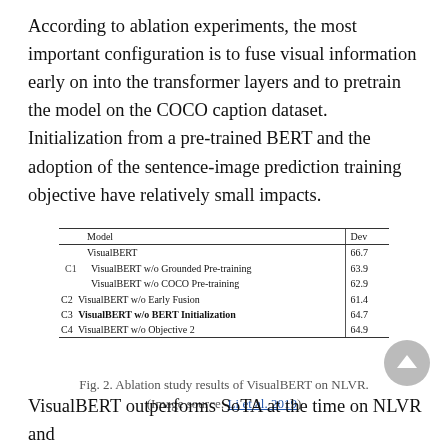According to ablation experiments, the most important configuration is to fuse visual information early on into the transformer layers and to pretrain the model on the COCO caption dataset. Initialization from a pre-trained BERT and the adoption of the sentence-image prediction training objective have relatively small impacts.
| Model | Dev |
| --- | --- |
| VisualBERT | 66.7 |
| C1  VisualBERT w/o Grounded Pre-training | 63.9 |
|     VisualBERT w/o COCO Pre-training | 62.9 |
| C2 VisualBERT w/o Early Fusion | 61.4 |
| C3 VisualBERT w/o BERT Initialization | 64.7 |
| C4 VisualBERT w/o Objective 2 | 64.9 |
Fig. 2. Ablation study results of VisualBERT on NLVR.
(Image source: Li et al. 2019)
VisualBERT outperforms SoTA at the time on NLVR and